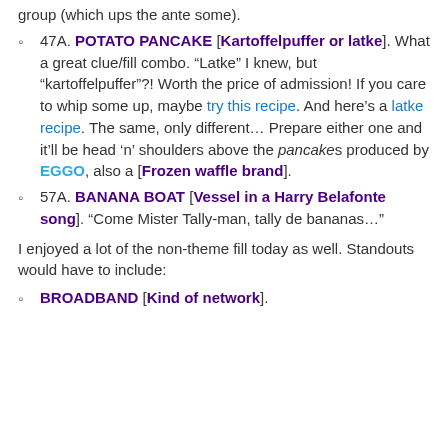group (which ups the ante some).
47A. POTATO PANCAKE [Kartoffelpuffer or latke]. What a great clue/fill combo. “Latke” I knew, but “kartoffelpuffer”?! Worth the price of admission! If you care to whip some up, maybe try this recipe. And here's a latke recipe. The same, only different… Prepare either one and it’ll be head ‘n’ shoulders above the pancakes produced by EGGO, also a [Frozen waffle brand].
57A. BANANA BOAT [Vessel in a Harry Belafonte song]. “Come Mister Tally-man, tally de bananas…”
I enjoyed a lot of the non-theme fill today as well. Standouts would have to include:
BROADBAND [Kind of network].